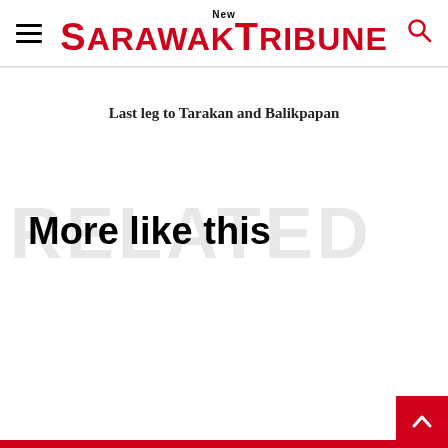New SarawakTribune
Last leg to Tarakan and Balikpapan
More like this